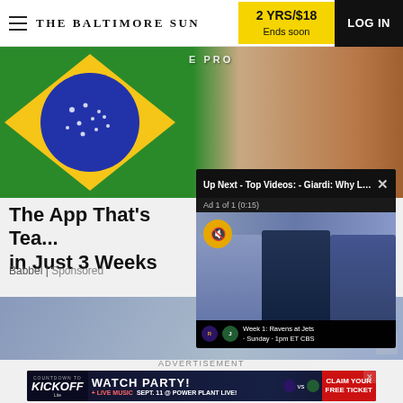THE BALTIMORE SUN | 2 YRS/$18 Ends soon | LOG IN
[Figure (photo): Brazilian flag with green, yellow and blue circle on the left; smiling woman on the right; promotional image for a language learning app]
The App That's Tea... in Just 3 Weeks
Babbel | Sponsored
[Figure (screenshot): Video popup overlay: 'Up Next - Top Videos: - Giardi: Why Lam...' with X close button. Ad 1 of 1 (0:15). Three sports commentators visible. Bottom bar shows Ravens vs Jets Week 1, Sunday - 1pm ET CBS.]
[Figure (photo): Person in red shirt working on exterior of house; partially visible behind video popup. X close button in bottom right.]
ADVERTISEMENT
[Figure (other): Watch Party advertisement banner: Countdown to Kickoff / Lite logo. WATCH PARTY! Ravens vs Jets. + LIVE MUSIC SEPT. 11 @ POWER PLANT LIVE! CLAIM YOUR FREE TICKET]